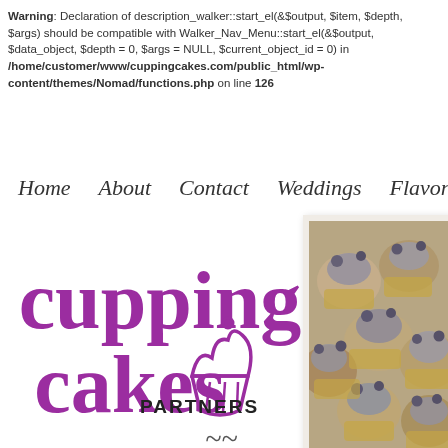Warning: Declaration of description_walker::start_el(&$output, $item, $depth, $args) should be compatible with Walker_Nav_Menu::start_el(&$output, $data_object, $depth = 0, $args = NULL, $current_object_id = 0) in /home/customer/www/cuppingcakes.com/public_html/wp-content/themes/Nomad/functions.php on line 126
Home
About
Contact
Weddings
Flavor Menu
[Figure (logo): Cupping Cakes logo with purple text and cupcake icon]
[Figure (photo): Photo of cupcakes with purple/grey frosting and blueberries in a polaroid-style frame]
PARTNERS